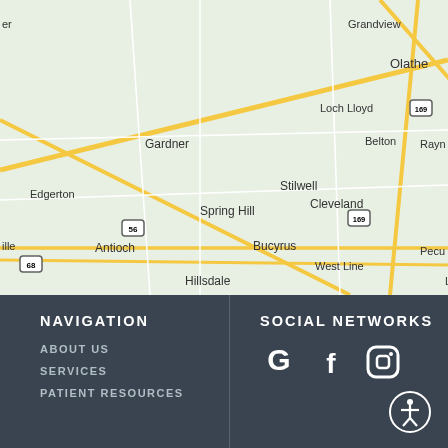[Figure (map): Google Maps view showing the Olathe/Kansas City area with E-Care Dentistry location pin. Shows surrounding areas including Gardner, Edgerton, Spring Hill, Antioch, Hillsdale, Stilwell, Bucyrus, Cleveland, Loch Lloyd, Belton, West Line, Louisburg, Freeman. Route markers visible: 35, 69, 169, 56, 68.]
NAVIGATION
ABOUT US
SERVICES
PATIENT RESOURCES
SOCIAL NETWORKS
[Figure (logo): Social network icons: Google (G), Facebook (f), Instagram (camera icon), and accessibility icon (person in circle)]